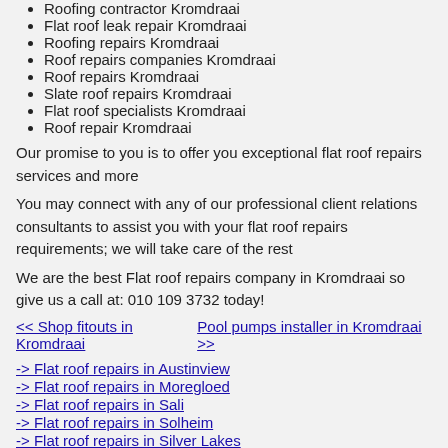Roofing contractor Kromdraai
Flat roof leak repair Kromdraai
Roofing repairs Kromdraai
Roof repairs companies Kromdraai
Roof repairs Kromdraai
Slate roof repairs Kromdraai
Flat roof specialists Kromdraai
Roof repair Kromdraai
Our promise to you is to offer you exceptional flat roof repairs services and more
You may connect with any of our professional client relations consultants to assist you with your flat roof repairs requirements; we will take care of the rest
We are the best Flat roof repairs company in Kromdraai so give us a call at: 010 109 3732 today!
<< Shop fitouts in Kromdraai
Pool pumps installer in Kromdraai >>
-> Flat roof repairs in Austinview
-> Flat roof repairs in Moregloed
-> Flat roof repairs in Sali
-> Flat roof repairs in Solheim
-> Flat roof repairs in Silver Lakes